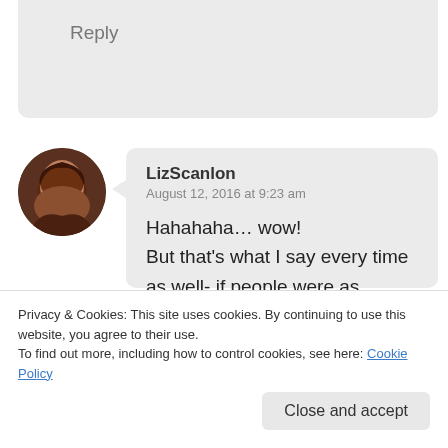Reply
LizScanlon
August 12, 2016 at 9:23 am

Hahahaha… wow!
But that's what I say every time as well- if people were as bothered and passionate about the state our our countries as much as we are over Big Brother,
Privacy & Cookies: This site uses cookies. By continuing to use this website, you agree to their use.
To find out more, including how to control cookies, see here: Cookie Policy
Close and accept